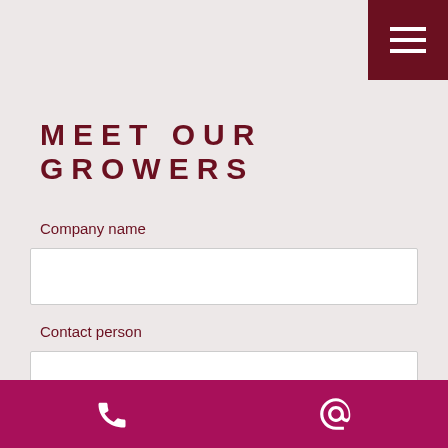[Figure (other): Dark red hamburger menu button in top-right corner with three white horizontal lines]
MEET OUR GROWERS
Company name
[Figure (other): White input field for company name]
Contact person
[Figure (other): White input field for contact person]
Telephone
[Figure (other): White input field for telephone]
[Figure (other): Pink bottom navigation bar with white phone icon and white @ icon]